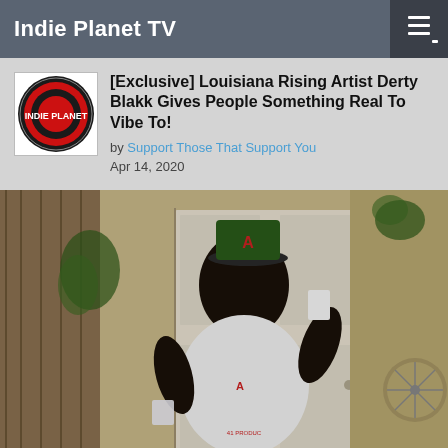Indie Planet TV
[Exclusive] Louisiana Rising Artist Derty Blakk Gives People Something Real To Vibe To!
by Support Those That Support You
Apr 14, 2020
[Figure (photo): A man wearing a white t-shirt with a logo and a green cap, holding cups, standing in front of a white door in a room with wood-paneled walls and a fan visible to the right.]